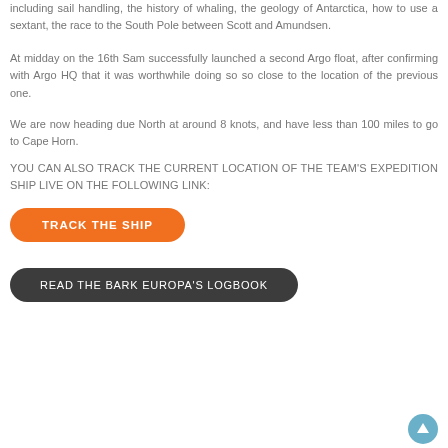including sail handling, the history of whaling, the geology of Antarctica, how to use a sextant, the race to the South Pole between Scott and Amundsen.
At midday on the 16th Sam successfully launched a second Argo float, after confirming with Argo HQ that it was worthwhile doing so so close to the location of the previous one.
We are now heading due North at around 8 knots, and have less than 100 miles to go to Cape Horn.
YOU CAN ALSO TRACK THE CURRENT LOCATION OF THE TEAM'S EXPEDITION SHIP LIVE ON THE FOLLOWING LINK:
[Figure (other): Orange rounded button with white text: TRACK THE SHIP]
[Figure (other): Dark rounded button with white text: READ THE BARK EUROPA'S LOGBOOK]
[Figure (other): Circular scroll-to-top button in teal/blue with upward arrow icon]